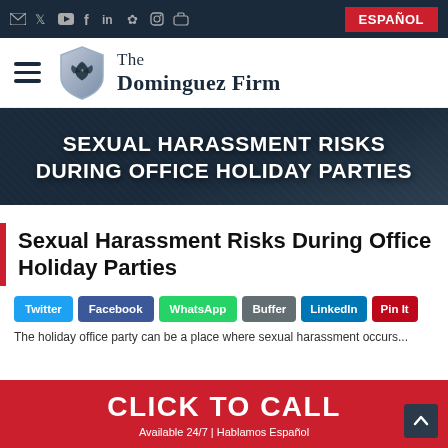✉ 𝕏 ▶ f in ✿ ◎ ✉  ESPAÑOL
[Figure (logo): The Dominguez Firm logo with eagle shield and firm name]
SEXUAL HARASSMENT RISKS DURING OFFICE HOLIDAY PARTIES
Sexual Harassment Risks During Office Holiday Parties
Twitter  Facebook  WhatsApp  Buffer  LinkedIn  Pin It
The holiday office party can be a place where sexual harassment occurs...
CLICK TO CALL  Available 24/7 | Hablamos Español